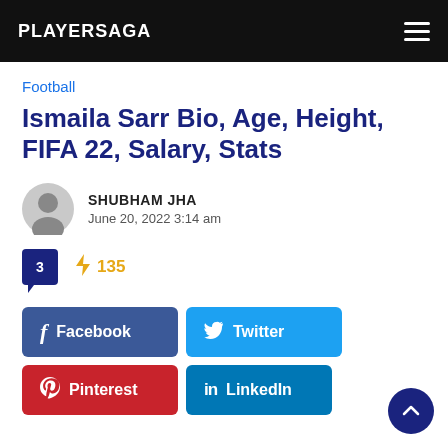PLAYERSAGA
Football
Ismaila Sarr Bio, Age, Height, FIFA 22, Salary, Stats
SHUBHAM JHA
June 20, 2022 3:14 am
3  ⚡ 135
Facebook  Twitter  Pinterest  LinkedIn